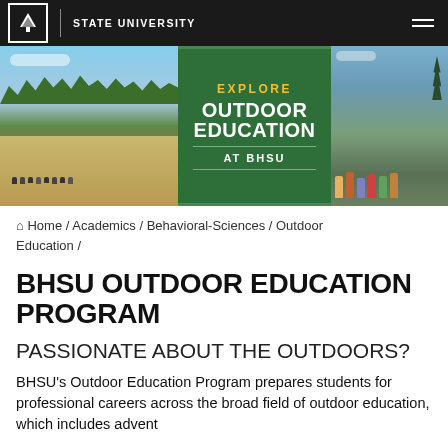BLACK HILLS STATE UNIVERSITY
[Figure (photo): Hero banner with three panels: left shows students sitting outdoors in a field with mountains and blue sky; center is a green panel with text 'EXPLORE OUTDOOR EDUCATION AT BHSU'; right shows a group of hikers with outdoor gear in a forested mountain setting.]
Home / Academics / Behavioral-Sciences / Outdoor Education /
BHSU OUTDOOR EDUCATION PROGRAM
PASSIONATE ABOUT THE OUTDOORS?
BHSU's Outdoor Education Program prepares students for professional careers across the broad field of outdoor education, which includes adventure-based